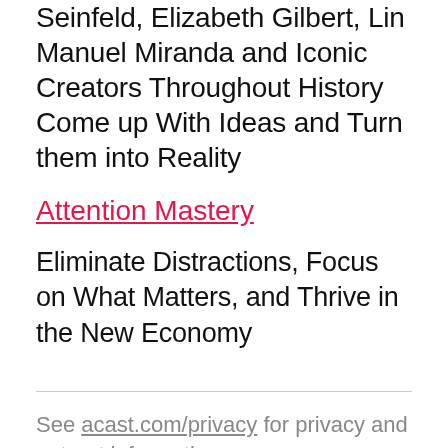Seinfeld, Elizabeth Gilbert, Lin Manuel Miranda and Iconic Creators Throughout History Come up With Ideas and Turn them into Reality
Attention Mastery
Eliminate Distractions, Focus on What Matters, and Thrive in the New Economy
See acast.com/privacy for privacy and opt-out information.
Unmistakable Collective
The Unmistakable Collective is a monthly